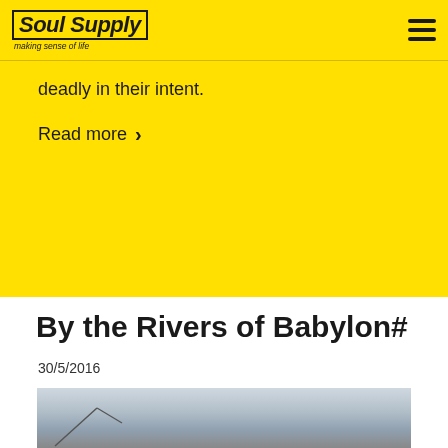Soul Supply — making sense of life
deadly in their intent.
Read more ›
By the Rivers of Babylon#
30/5/2016
[Figure (photo): A grey sky/outdoor photo, partially visible, with a faint diagonal element (possibly a branch or bird) in the lower left corner.]